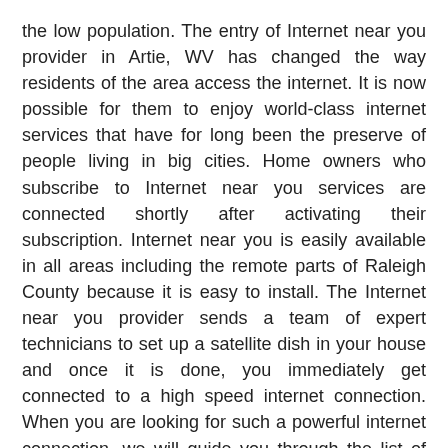the low population. The entry of Internet near you provider in Artie, WV has changed the way residents of the area access the internet. It is now possible for them to enjoy world-class internet services that have for long been the preserve of people living in big cities. Home owners who subscribe to Internet near you services are connected shortly after activating their subscription. Internet near you is easily available in all areas including the remote parts of Raleigh County because it is easy to install. The Internet near you provider sends a team of expert technicians to set up a satellite dish in your house and once it is done, you immediately get connected to a high speed internet connection. When you are looking for such a powerful internet connection, we will guide you through the list of internet companies offering the Internet near you service in the Artie WV area.
Benefits of using Artie WV Internet In My Area services
It is said that time is a highly valuable resource that you should